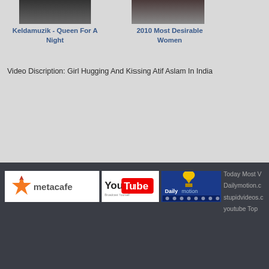[Figure (screenshot): Thumbnail image for Keldamuzik - Queen For A Night video]
Keldamuzik - Queen For A Night
[Figure (screenshot): Thumbnail image for 2010 Most Desirable Women video]
2010 Most Desirable Women
Video Discription: Girl Hugging And Kissing Atif Aslam In India
[Figure (logo): Metacafe logo]
[Figure (logo): YouTube logo]
[Figure (logo): Dailymotion logo]
Today Most V
Dailymotion.c
stupidvideos.c
youtube Top